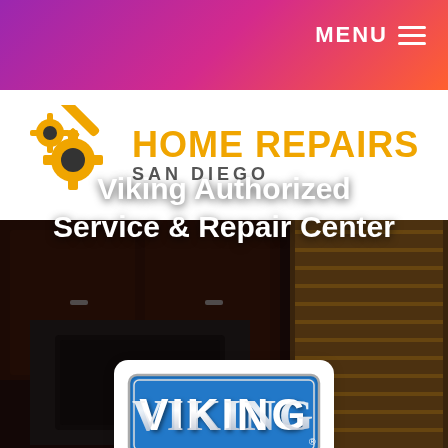MENU
[Figure (logo): Home Repairs San Diego logo with gear and wrench icon in orange/yellow, company name in orange bold caps and subtitle in gray]
Viking Authorized Service & Repair Center
[Figure (logo): Viking appliance brand logo — blue rectangular badge with metallic silver border showing 'VIKING' in chrome 3D lettering on blue background]